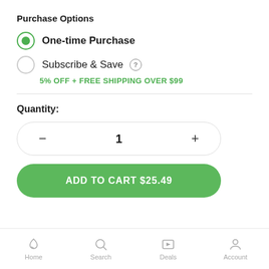Purchase Options
One-time Purchase (selected)
Subscribe & Save (?) — 5% OFF + FREE SHIPPING OVER $99
Quantity:
[Figure (other): Quantity stepper control: minus button, value '1', plus button, inside a rounded rectangle border]
[Figure (other): Add to cart button: green rounded rectangle with text 'ADD TO CART $25.49']
Home  Search  Deals  Account